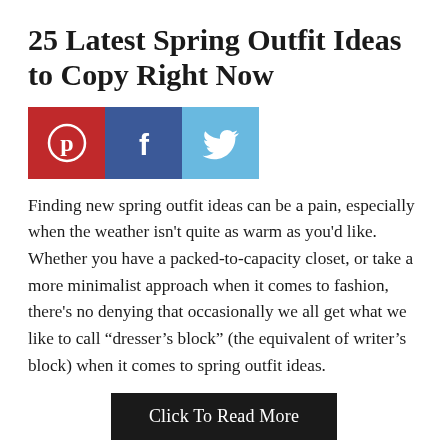25 Latest Spring Outfit Ideas to Copy Right Now
[Figure (infographic): Social share buttons: Pinterest (red), Facebook (dark blue), Twitter (light blue)]
Finding new spring outfit ideas can be a pain, especially when the weather isn't quite as warm as you'd like. Whether you have a packed-to-capacity closet, or take a more minimalist approach when it comes to fashion, there's no denying that occasionally we all get what we like to call “dresser’s block” (the equivalent of writer’s block) when it comes to spring outfit ideas.
Click To Read More
[Figure (infographic): Social share buttons (bottom): Pinterest (red), Facebook (dark blue), Twitter (light blue)]